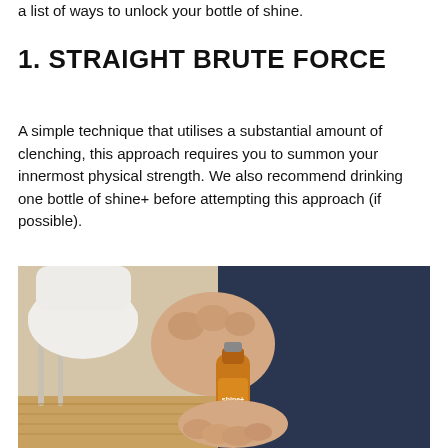a list of ways to unlock your bottle of shine.
1. STRAIGHT BRUTE FORCE
A simple technique that utilises a substantial amount of clenching, this approach requires you to summon your innermost physical strength. We also recommend drinking one bottle of shine+ before attempting this approach (if possible).
[Figure (photo): Hands gripping and trying to twist open a small amber glass bottle of shine+ drink, with white chairs and wooden floor visible in background.]